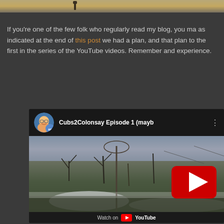[Figure (photo): Top strip of an outdoor photo showing sandy/earthy terrain, partially cropped at the top of the page]
If you're one of the few folk who regularly read my blog, you ma as indicated at the end of this post we had a plan, and that plan to the first in the series of the YouTube videos. Remember and experience.
[Figure (screenshot): YouTube embedded video player showing 'Cubs2Colonsay Episode 1 (mayb' with a winter landscape thumbnail featuring bare shrubs and frost, a YouTube play button overlay, and a 'Watch on YouTube' footer bar. The channel avatar shows a smiling older man.]